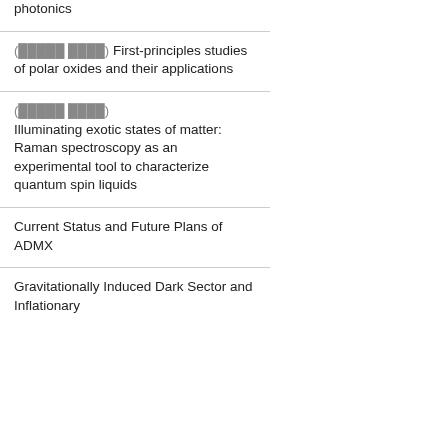photonics
(████ ███) First-principles studies of polar oxides and their applications
(████ ███) Illuminating exotic states of matter: Raman spectroscopy as an experimental tool to characterize quantum spin liquids
Current Status and Future Plans of ADMX
Gravitationally Induced Dark Sector and Inflationary